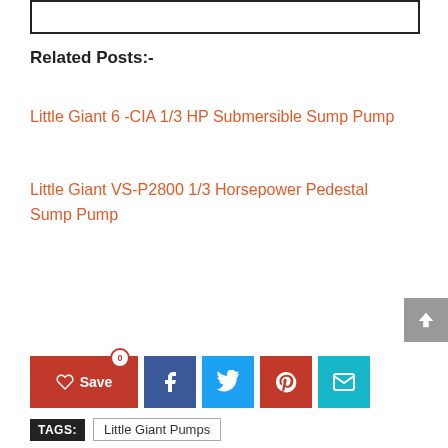[Figure (other): Empty box outline at top of page]
Related Posts:-
Little Giant 6 -CIA 1/3 HP Submersible Sump Pump
Little Giant VS-P2800 1/3 Horsepower Pedestal Sump Pump
[Figure (other): Social share bar with Save, Facebook, Twitter, Pinterest, Email buttons]
TAGS: Little Giant Pumps